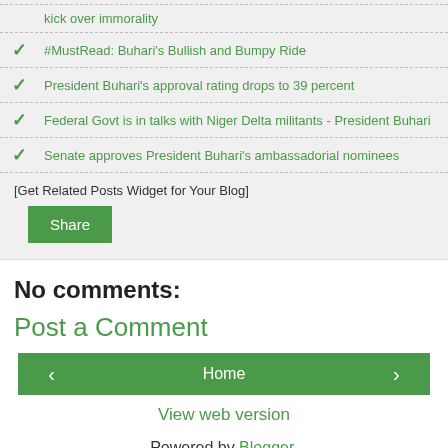kick over immorality
#MustRead: Buhari's Bullish and Bumpy Ride
President Buhari's approval rating drops to 39 percent
Federal Govt is in talks with Niger Delta militants - President Buhari
Senate approves President Buhari's ambassadorial nominees
[Get Related Posts Widget for Your Blog]
Share
No comments:
Post a Comment
Home
View web version
Powered by Blogger.